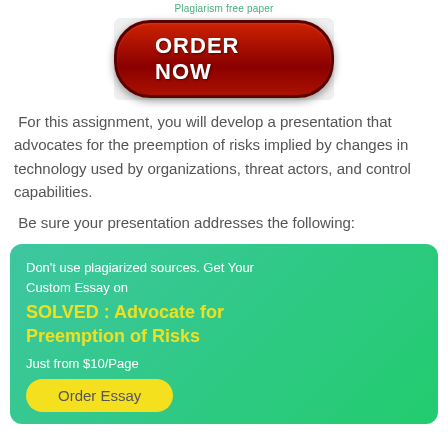Plagiarism free paper
[Figure (illustration): Red ORDER NOW button on light gray background]
For this assignment, you will develop a presentation that advocates for the preemption of risks implied by changes in technology used by organizations, threat actors, and control capabilities.
Be sure your presentation addresses the following:
Don't use plagiarized sources. Get Your Custom Essay on
SOLVED : Advocate for Preemption of Risks
Just from $10/Page
Order Essay